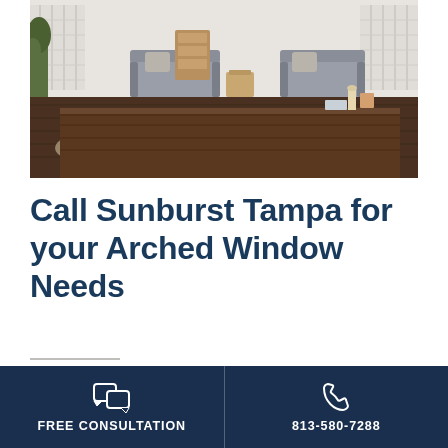[Figure (photo): Interior room photo showing a living/dining area with a dark wood farmhouse table in the foreground, grey upholstered chairs and small side tables in the background, with white shuttered windows and a dark hardwood floor with a cowhide rug]
Call Sunburst Tampa for your Arched Window Needs
Get a complimentary estimate on window treatments for your arched windows today. Just fill out the form below or call Sunburst Tampa at
FREE CONSULTATION | 813-580-7288